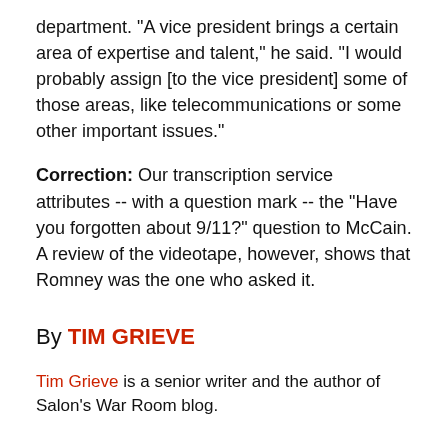department. "A vice president brings a certain area of expertise and talent," he said. "I would probably assign [to the vice president] some of those areas, like telecommunications or some other important issues."
Correction: Our transcription service attributes -- with a question mark -- the "Have you forgotten about 9/11?" question to McCain. A review of the videotape, however, shows that Romney was the one who asked it.
By TIM GRIEVE
Tim Grieve is a senior writer and the author of Salon's War Room blog.